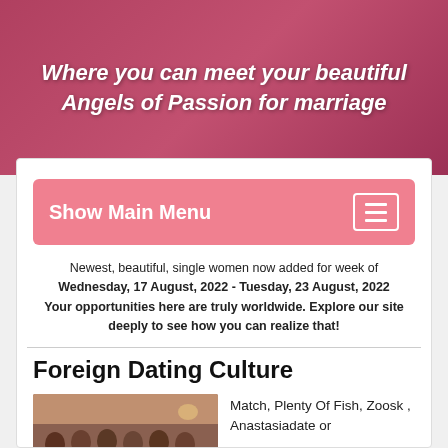Where you can meet your beautiful Angels of Passion for marriage
[Figure (screenshot): Pink salmon-colored Show Main Menu navigation bar with hamburger icon]
Newest, beautiful, single women now added for week of Wednesday, 17 August, 2022 - Tuesday, 23 August, 2022 Your opportunities here are truly worldwide. Explore our site deeply to see how you can realize that!
Foreign Dating Culture
[Figure (photo): Group of women at a social event]
Match, Plenty Of Fish, Zoosk , Anastasiadate or